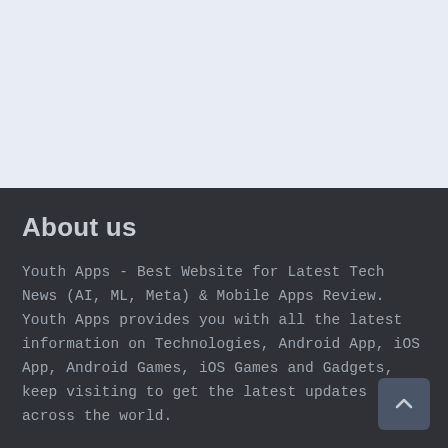[Figure (other): Light blue-gray empty top section background]
About us
Youth Apps - Best Website for Latest Tech News (AI, ML, Meta) & Mobile Apps Review. Youth Apps provides you with all the latest information on Technologies, Android App, iOS App, Android Games, iOS Games and Gadgets, keep visiting to get the latest updates across the world.